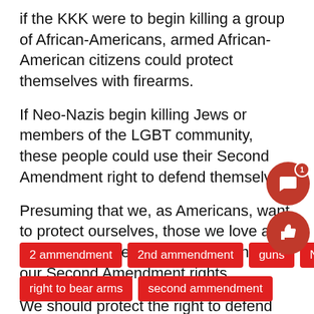if the KKK were to begin killing a group of African-Americans, armed African-American citizens could protect themselves with firearms.
If Neo-Nazis begin killing Jews or members of the LGBT community, these people could use their Second Amendment right to defend themselves.
Presuming that we, as Americans, want to protect ourselves, those we love and our property, we should be clinging to our Second Amendment rights.
We should protect the right to defend ourselves from those who try to harm us.
— Melody Cornish is a guest columnist and an undeci...
2 ammendment
2nd ammendment
guns
Nazi...
right to bear arms
second ammendment